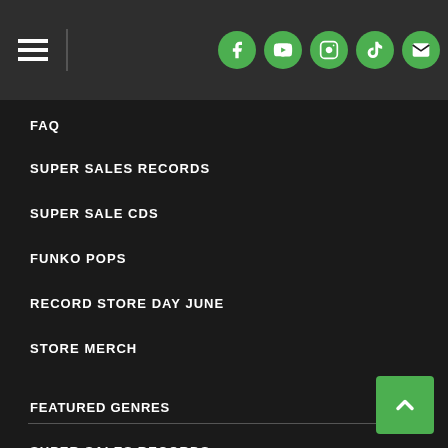[Figure (screenshot): Navigation header bar with hamburger menu icon on the left and five social media icons (Facebook, YouTube, Instagram, TikTok, Email) on the right, all on a dark gray background]
FAQ
SUPER SALES RECORDS
SUPER SALE CDS
FUNKO POPS
RECORD STORE DAY JUNE
STORE MERCH
FEATURED GENRES
SUPER SALES RECORDS
SUPER SALES CDS